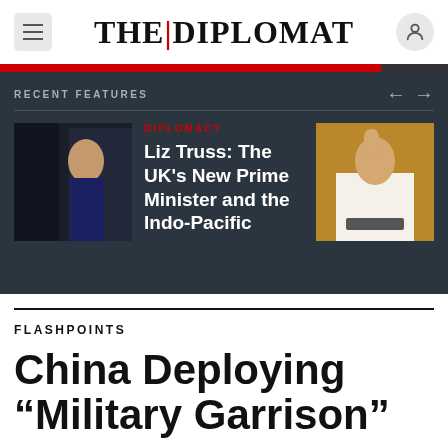THE DIPLOMAT
RECENT FEATURES
DIPLOMACY
Liz Truss: The UK's New Prime Minister and the Indo-Pacific
FLASHPOINTS
China Deploying "Military Garrison"